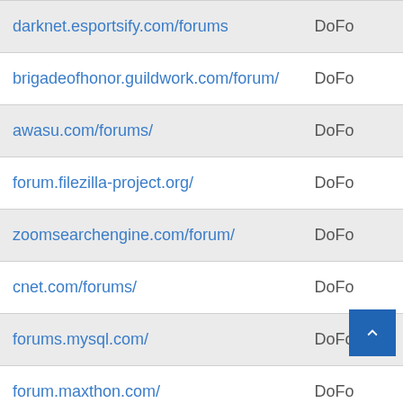| URL | Type |
| --- | --- |
| darknet.esportsify.com/forums | DoFo |
| brigadeofhonor.guildwork.com/forum/ | DoFo |
| awasu.com/forums/ | DoFo |
| forum.filezilla-project.org/ | DoFo |
| zoomsearchengine.com/forum/ | DoFo |
| cnet.com/forums/ | DoFo |
| forums.mysql.com/ | DoFo |
| forum.maxthon.com/ | DoFo |
| 000webhost.com/forum/ | DoFo |